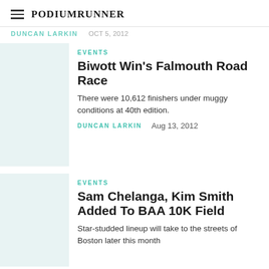PodiumRunner
DUNCAN LARKIN    Oct 5, 2012
EVENTS
Biwott Win's Falmouth Road Race
There were 10,612 finishers under muggy conditions at 40th edition.
DUNCAN LARKIN    Aug 13, 2012
EVENTS
Sam Chelanga, Kim Smith Added To BAA 10K Field
Star-studded lineup will take to the streets of Boston later this month